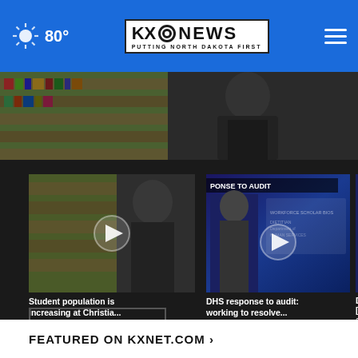80° KX NEWS — Putting North Dakota First
[Figure (screenshot): Partial hero image showing a person in a black shirt in front of bookshelves]
[Figure (screenshot): Video thumbnail: Student population is increasing at Christia...]
Student population is increasing at Christia...
1 hour ago
[Figure (screenshot): Video thumbnail: DHS response to audit: working to resolve...]
DHS response to audit: working to resolve...
1 day ago
[Figure (screenshot): Partial video thumbnail: Dock [action]]
Dock [action]
More Videos ›
FEATURED ON KXNET.COM ›